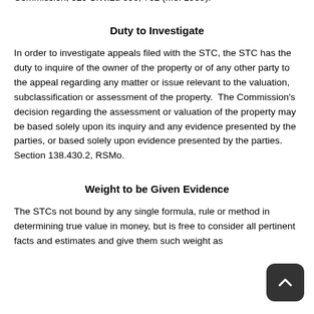Commission, 329 S.W.2d 090, 702 (Mo. 1959).
Duty to Investigate
In order to investigate appeals filed with the STC, the STC has the duty to inquire of the owner of the property or of any other party to the appeal regarding any matter or issue relevant to the valuation, subclassification or assessment of the property.  The Commission's decision regarding the assessment or valuation of the property may be based solely upon its inquiry and any evidence presented by the parties, or based solely upon evidence presented by the parties. Section 138.430.2, RSMo.
Weight to be Given Evidence
The STCs not bound by any single formula, rule or method in determining true value in money, but is free to consider all pertinent facts and estimates and give them such weight as